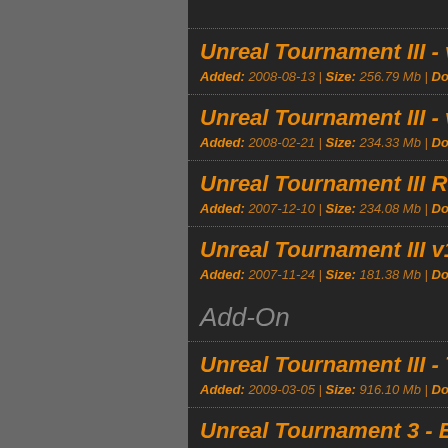Unreal Tournament III - v1.3 Patch | Added: 2008-08-13 | Size: 256.79 Mb | Downloads: 4,997
Unreal Tournament III - v1.2 Patch | Added: 2008-02-21 | Size: 234.33 Mb | Downloads: 5,003
Unreal Tournament III Retail 1.1 Patch | Added: 2007-12-10 | Size: 234.08 Mb | Downloads: 4,927
Unreal Tournament III v1.01 Beta | Added: 2007-11-24 | Size: 181.38 Mb | Downloads: 4,682
Add-On
Unreal Tournament III - Titan Pack | Added: 2009-03-05 | Size: 916.10 Mb | Downloads: 6,201
Unreal Tournament 3 - Bonus Pack | Added: 2008-03-27 | Size: 159.7 Mb | Downloads: 6,556